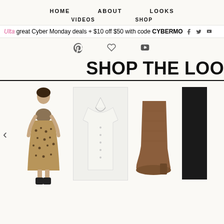HOME   ABOUT   LOOKS
VIDEOS   SHOP
Ulta great Cyber Monday deals + $10 off $50 with code CYBERMO
[Figure (other): Social media icons: Pinterest, heart/LikeToKnow, YouTube]
SHOP THE LOO
[Figure (photo): Four product images in a carousel: a printed fit-and-flare dress with black booties, a white button-down shirt, brown suede ankle boots with block heel, and a black garment (partially visible). A left arrow carousel control is visible.]